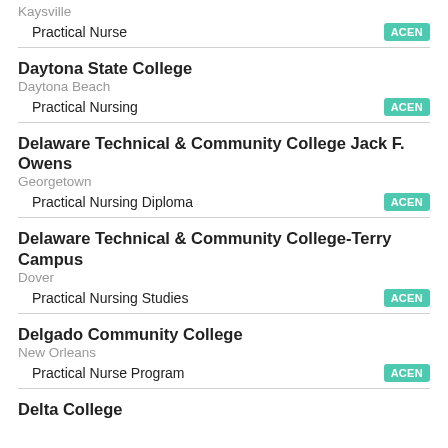Kaysville
Practical Nurse — ACEN
Daytona State College
Daytona Beach
Practical Nursing — ACEN
Delaware Technical & Community College Jack F. Owens
Georgetown
Practical Nursing Diploma — ACEN
Delaware Technical & Community College-Terry Campus
Dover
Practical Nursing Studies — ACEN
Delgado Community College
New Orleans
Practical Nurse Program — ACEN
Delta College